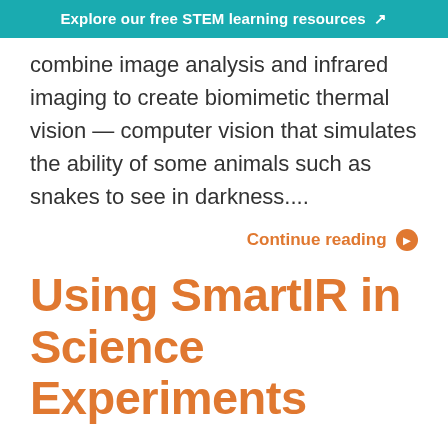Explore our free STEM learning resources ↗
combine image analysis and infrared imaging to create biomimetic thermal vision — computer vision that simulates the ability of some animals such as snakes to see in darkness....
Continue reading ❯
Using SmartIR in Science Experiments